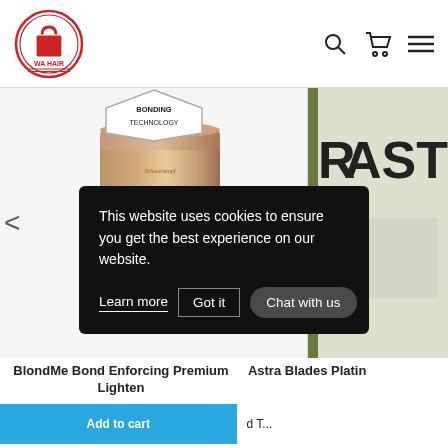[Figure (logo): WA Hair logo — circular red and white emblem with shopping bag icon and 'WA HAIR' text]
[Figure (photo): Screenshot of a hair product e-commerce website showing BlondMe Bond Enforcing Premium Lightener product (rose gold cylindrical container) on the left and partially visible Astra Blades Platinum product on the right, with navigation arrows, bonding technology badge at top, product titles, add-to-cart button, and a cookie consent overlay popup]
This website uses cookies to ensure you get the best experience on our website.
Learn more
Got it
Chat with us
BlondMe Bond Enforcing Premium Lighten
Astra Blades Platin